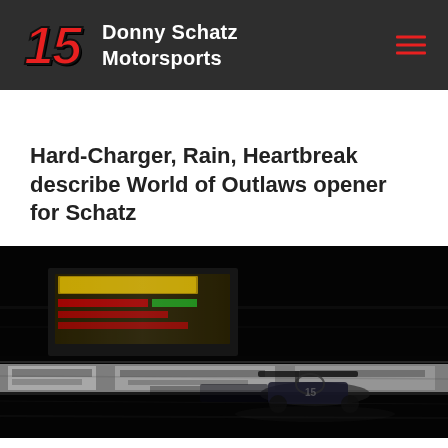15 Donny Schatz Motorsports
Hard-Charger, Rain, Heartbreak describe World of Outlaws opener for Schatz
[Figure (photo): Night race photo of a sprint car on a dirt track with motion blur, scoreboard visible in upper left, advertising banners along the wall, taken in low-light conditions with motion blur effect]